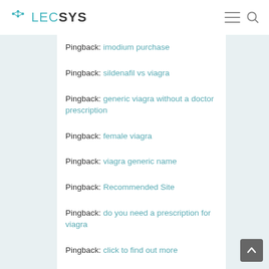LECSYS
Pingback: imodium purchase
Pingback: sildenafil vs viagra
Pingback: generic viagra without a doctor prescription
Pingback: female viagra
Pingback: viagra generic name
Pingback: Recommended Site
Pingback: do you need a prescription for viagra
Pingback: click to find out more
Pingback: northwest pharmacy in canada
Pingback: สล็อต